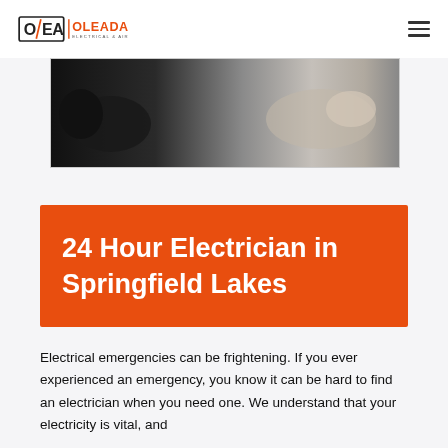OLEADA ELECTRICAL & AIR
[Figure (photo): Close-up photo of a person's hands working on electrical equipment, dark background on left, light background on right.]
24 Hour Electrician in Springfield Lakes
Electrical emergencies can be frightening. If you ever experienced an emergency, you know it can be hard to find an electrician when you need one. We understand that your electricity is vital, and